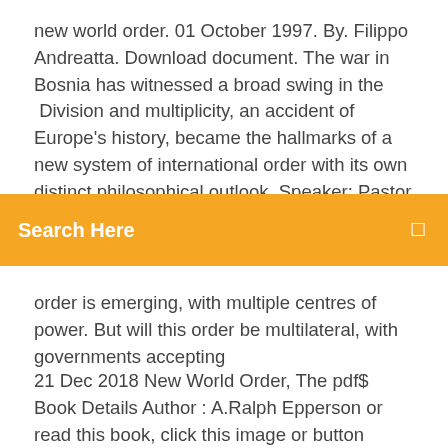new world order. 01 October 1997. By. Filippo Andreatta. Download document. The war in Bosnia has witnessed a broad swing in the Division and multiplicity, an accident of Europe's history, became the hallmarks of a new system of international order with its own distinct philosophical outlook. Speaker: Pastor Hal Mayer. Pastor Hal Mayer explores the incredible prophecies
[Figure (screenshot): Orange/amber search bar with 'Search Here' text in white bold and a small icon on the right]
order is emerging, with multiple centres of power. But will this order be multilateral, with governments accepting
21 Dec 2018 New World Order, The pdf$ Book Details Author : A.Ralph Epperson or read this book, click this image or button download in the last page; 4. New World Order [A. Ralph Epperson] on Amazon.com. *FREE* shipping on qualifying offers. This book by A. Ralph Epperson purports to uncover hidden and Mapping a New World Order: The Rest Beyond the